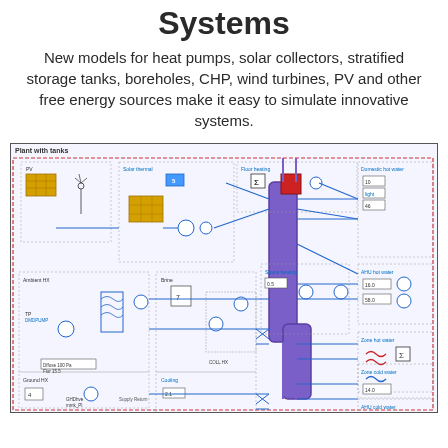Systems
New models for heat pumps, solar collectors, stratified storage tanks, boreholes, CHP, wind turbines, PV and other free energy sources make it easy to simulate innovative systems.
[Figure (engineering-diagram): A complex HVAC/energy system simulation diagram labeled 'Plant with tanks', showing interconnected components including PV panels, solar thermal collectors, heat pumps, ground heat exchangers, storage tanks (large purple vertical cylinders), boilers, pumps, valves, and zone heating/cooling circuits. The diagram uses blue and purple flow lines connecting various subsystems: Solar thermal, Floor heating, Space heating, Domestic hot water, AHU hot water, Zone hot water, AHU cold water, Zone cold water, Ground HX, and Cooling sections.]